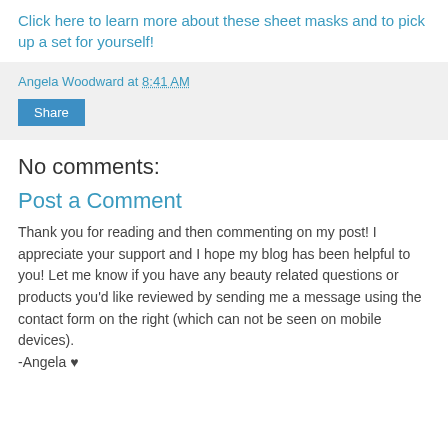Click here to learn more about these sheet masks and to pick up a set for yourself!
Angela Woodward at 8:41 AM
Share
No comments:
Post a Comment
Thank you for reading and then commenting on my post! I appreciate your support and I hope my blog has been helpful to you! Let me know if you have any beauty related questions or products you'd like reviewed by sending me a message using the contact form on the right (which can not be seen on mobile devices).
-Angela ♥